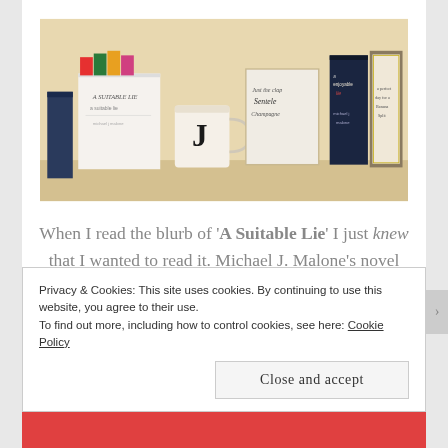[Figure (photo): A shelf or table display showing several books including 'A Suitable Lie', a mug with a letter J, a framed calligraphy print, a dark book cover with 'A Suitable Lie michael j malone', and a framed decorative print, against a warm beige background.]
When I read the blurb of 'A Suitable Lie' I just knew that I wanted to read it. Michael J. Malone's novel paints a shocking and compelling portrait of a subject that so often gets brushed under the carpet: spousal abuse where the male partner is actually the victim. I
Privacy & Cookies: This site uses cookies. By continuing to use this website, you agree to their use.
To find out more, including how to control cookies, see here: Cookie Policy
Close and accept